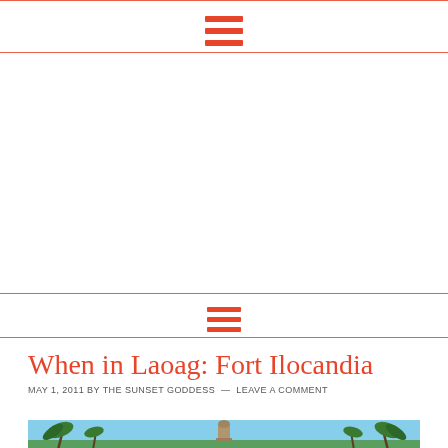[Figure (other): Hamburger menu icon (three horizontal orange-red bars) in top navigation area]
[Figure (other): Hamburger menu icon (three horizontal orange-red bars) in secondary navigation area]
When in Laoag: Fort Ilocandia
MAY 1, 2011 BY THE SUNSET GODDESS — LEAVE A COMMENT
[Figure (photo): Outdoor photo showing a stone fountain or monument in the center, flanked by palm trees, against a blue sky. Likely taken at Fort Ilocandia resort.]